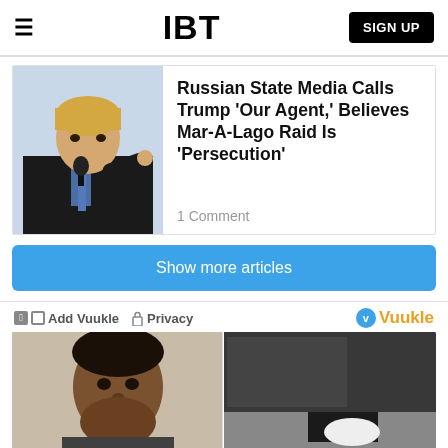IBT — SIGN UP
Russian State Media Calls Trump 'Our Agent,' Believes Mar-A-Lago Raid Is 'Persecution'
1 Comment
Show more articles
Add Vuukle  Privacy  Vuukle
[Figure (photo): Two-panel image: left shows mugshot of a Black man; right shows security camera footage of a person in dark clothing]
Wendys Employee Who Punched Elder